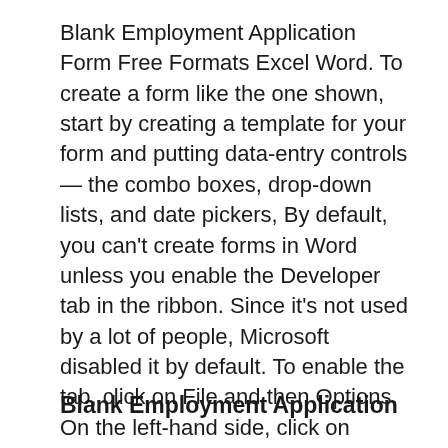Blank Employment Application Form Free Formats Excel Word. To create a form like the one shown, start by creating a template for your form and putting data-entry controls — the combo boxes, drop-down lists, and date pickers, By default, you can't create forms in Word unless you enable the Developer tab in the ribbon. Since it's not used by a lot of people, Microsoft disabled it by default. To enable the tab, click on File and then Options. On the left-hand side, click on Customize Ribbon and then check the Developer box in the right-hand list box..
Blank Employment Application